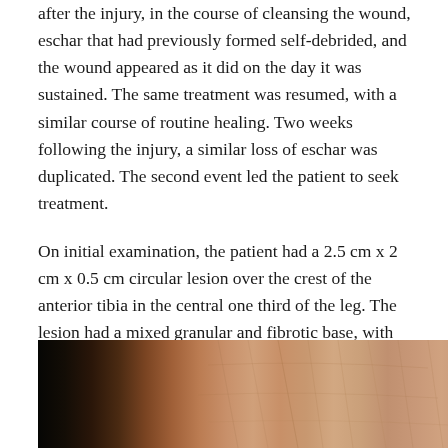after the injury, in the course of cleansing the wound, eschar that had previously formed self-debrided, and the wound appeared as it did on the day it was sustained. The same treatment was resumed, with a similar course of routine healing. Two weeks following the injury, a similar loss of eschar was duplicated. The second event led the patient to seek treatment.
On initial examination, the patient had a 2.5 cm x 2 cm x 0.5 cm circular lesion over the crest of the anterior tibia in the central one third of the leg. The lesion had a mixed granular and fibrotic base, with mild surrounding erythema and no edema (Figure 10).
[Figure (photo): Clinical photograph showing a close-up view of a wound on the anterior tibia, with visible skin texture and lesion]